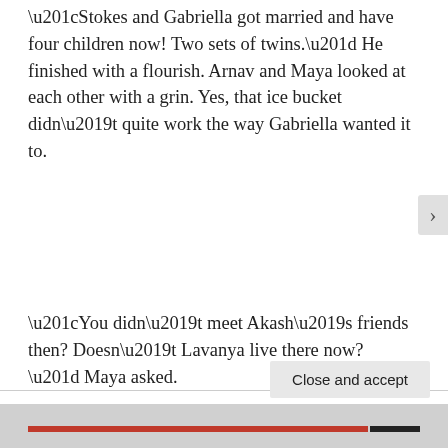“Stokes and Gabriella got married and have four children now! Two sets of twins.” He finished with a flourish. Arnav and Maya looked at each other with a grin. Yes, that ice bucket didn’t quite work the way Gabriella wanted it to.
“You didn’t meet Akash’s friends then? Doesn’t Lavanya live there now?” Maya asked.
Privacy & Cookies: This site uses cookies. By continuing to use this website, you agree to their use.
To find out more, including how to control cookies, see here: Cookie Policy